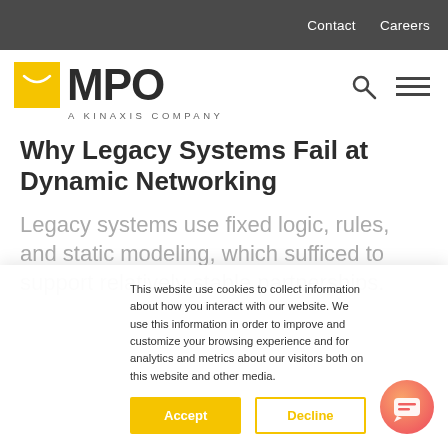Contact   Careers
[Figure (logo): MPO - A Kinaxis Company logo with yellow envelope icon]
Why Legacy Systems Fail at Dynamic Networking
Legacy systems use fixed logic, rules, and static modeling, which sufficed to support relatively stable partnerships.
This website use cookies to collect information about how you interact with our website. We use this information in order to improve and customize your browsing experience and for analytics and metrics about our visitors both on this website and other media.